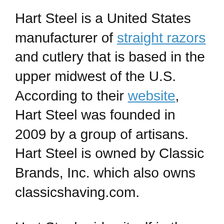Hart Steel is a United States manufacturer of straight razors and cutlery that is based in the upper midwest of the U.S.  According to their website, Hart Steel was founded in 2009 by a group of artisans.  Hart Steel is owned by Classic Brands, Inc. which also owns classicshaving.com.
Hart Steel prides itself in the way it manufactures its straight razors.  According to them, each straight razor is made by an individual “Artisan Technician” from the start until the razor is finished.  Then each straight razor will have the the initials of the Artisan Technician who made the straight